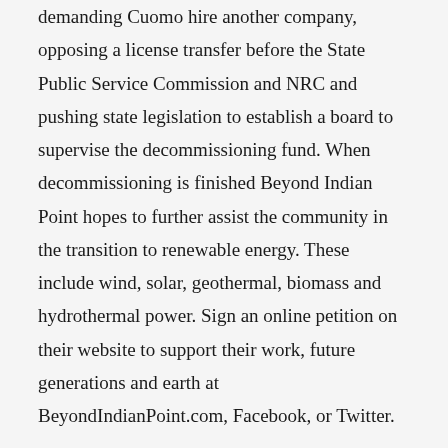Riverkeeper, MIRS and Food and Water Watch, they're demanding Cuomo hire another company, opposing a license transfer before the State Public Service Commission and NRC and pushing state legislation to establish a board to supervise the decommissioning fund. When decommissioning is finished Beyond Indian Point hopes to further assist the community in the transition to renewable energy. These include wind, solar, geothermal, biomass and hydrothermal power. Sign an online petition on their website to support their work, future generations and earth at BeyondIndianPoint.com, Facebook, or Twitter.
“Bravo to everyone involved in making this historic day come to pass,” said Susan Shapiro.
Raised in the Midwest, Barbara Puff is a writer who live